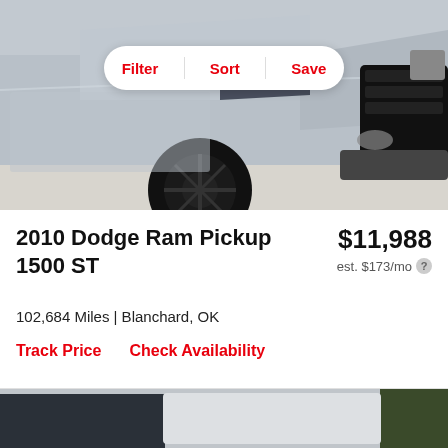[Figure (photo): Front view of a silver 2010 Dodge Ram Pickup 1500 truck with black wheels, photographed from the front-left angle on a concrete surface]
Filter  Sort  Save
2010 Dodge Ram Pickup 1500 ST
$11,988
est. $173/mo
102,684 Miles | Blanchard, OK
Track Price   Check Availability
[Figure (photo): Partial view of another vehicle listing below, showing a dark-colored car with a light gray placeholder rectangle]